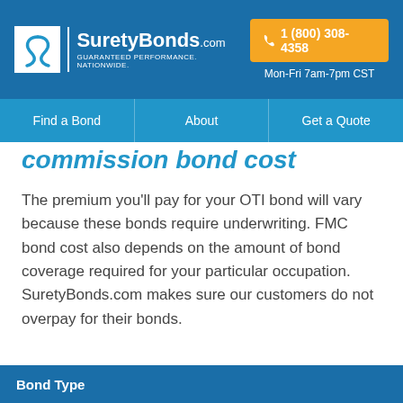SuretyBonds.com — GUARANTEED PERFORMANCE. NATIONWIDE. 1 (800) 308-4358. Mon-Fri 7am-7pm CST
Find a Bond | About | Get a Quote
commission bond cost
The premium you'll pay for your OTI bond will vary because these bonds require underwriting. FMC bond cost also depends on the amount of bond coverage required for your particular occupation. SuretyBonds.com makes sure our customers do not overpay for their bonds.
Bond Type